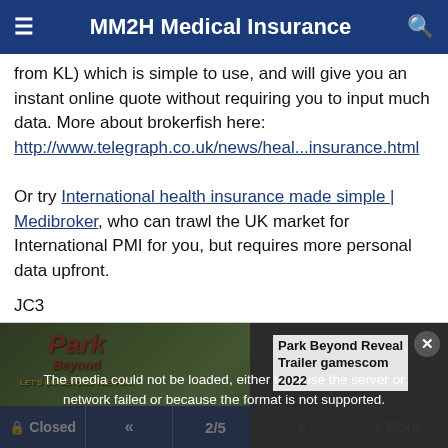MM2H Medical Insurance
from KL) which is simple to use, and will give you an instant online quote without requiring you to input much data. More about brokerfish here:
http://www.telegraph.co.uk/news/heal...insurance.html

Or try International health insurance made simple | Medibroker, who can trawl the UK market for International PMI for you, but requires more personal data upfront.
JC3
[Figure (screenshot): Video player placeholder showing 'The media could not be loaded, either because the server or network failed or because the format is not supported.' with Park Beyond Reveal Trailer gamescom 2022 title card and close button.]
Closed  «  2/5  »  + More